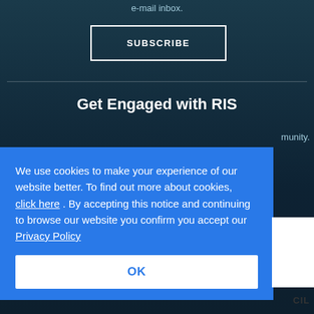e-mail inbox.
SUBSCRIBE
Get Engaged with RIS
munity.
We use cookies to make your experience of our website better. To find out more about cookies, click here . By accepting this notice and continuing to browse our website you confirm you accept our Privacy Policy
OK
CIL